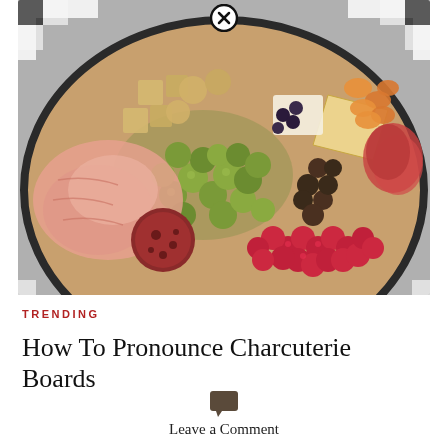[Figure (photo): A large round charcuterie board filled with green olives, raspberries, prosciutto, salami, various cheeses, crackers, dried fruits, and other charcuterie items, on a black and white checkered tablecloth. A close button (X in circle) appears at the top center of the image.]
TRENDING
How To Pronounce Charcuterie Boards
Leave a Comment